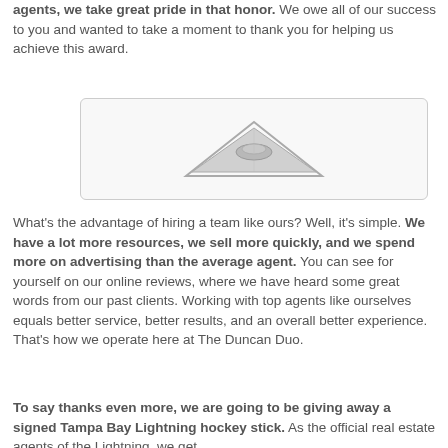agents, we take great pride in that honor. We owe all of our success to you and wanted to take a moment to thank you for helping us achieve this award.
[Figure (illustration): A stylized triangular award or trophy icon in grayscale, resembling a peaked shape with a small emblem in the center, displayed inside a rounded rectangle.]
What's the advantage of hiring a team like ours? Well, it's simple. We have a lot more resources, we sell more quickly, and we spend more on advertising than the average agent. You can see for yourself on our online reviews, where we have heard some great words from our past clients. Working with top agents like ourselves equals better service, better results, and an overall better experience. That's how we operate here at The Duncan Duo.
To say thanks even more, we are going to be giving away a signed Tampa Bay Lightning hockey stick. As the official real estate agents of the Lightning, we get